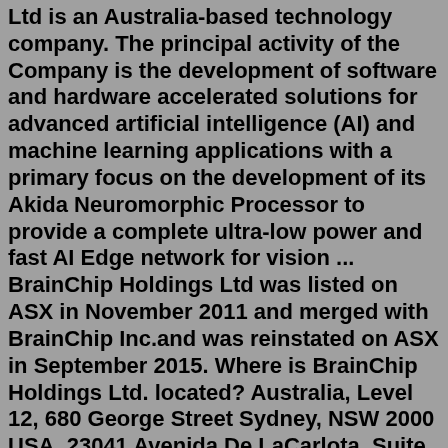Ltd is an Australia-based technology company. The principal activity of the Company is the development of software and hardware accelerated solutions for advanced artificial intelligence (AI) and machine learning applications with a primary focus on the development of its Akida Neuromorphic Processor to provide a complete ultra-low power and fast AI Edge network for vision ... BrainChip Holdings Ltd was listed on ASX in November 2011 and merged with BrainChip Inc.and was reinstated on ASX in September 2015. Where is BrainChip Holdings Ltd. located? Australia, Level 12, 680 George Street Sydney, NSW 2000 USA, 23041 Avenida De LaCarlota, Suite 250 Laguna Hills CA 92653 BrainChip is a global technology company that is producing a groundbreaking neuromorphic processor that brings artificial intelligence to the edge in a way that is beyond the capabilities of other products. The chip is high performance, small, ultra-low power and enables a wide array of edge capabilities that include on-chip training, learning ...Aug 19, 2020 · Companies